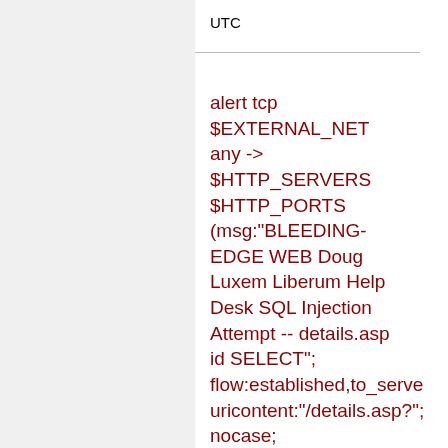UTC
alert tcp $EXTERNAL_NET any -> $HTTP_SERVERS $HTTP_PORTS (msg:"BLEEDING-EDGE WEB Doug Luxem Liberum Help Desk SQL Injection Attempt -- details.asp id SELECT"; flow:established,to_server; uricontent:"/details.asp?"; nocase; uricontent:"id="; nocase; uricontent:"SELECT"; nocase; ..."a SELECT+FROM